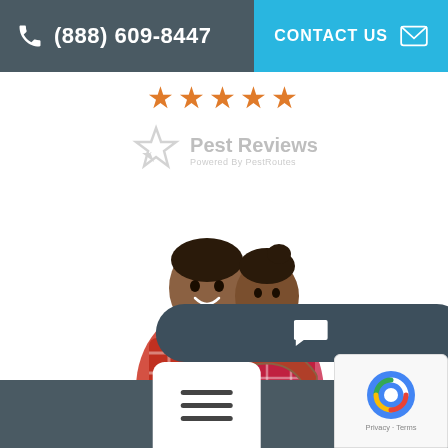(888) 609-8447  CONTACT US
[Figure (other): Five orange star rating icons in a row]
[Figure (logo): Pest Reviews logo — star icon with 'Pest Reviews / Powered By PestRoutes' text, greyed out]
[Figure (photo): Photo of a smiling couple (man and woman) hugging, wearing plaid shirts, on white background]
[Figure (other): Dark rounded pill-shaped chat/message button with speech bubble icon]
[Figure (other): White hamburger menu button (three horizontal lines) at bottom center]
[Figure (other): Google reCAPTCHA widget at bottom right showing logo and Privacy · Terms text]